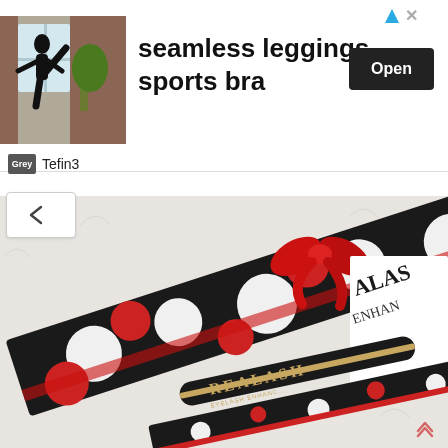[Figure (screenshot): Advertisement banner showing a woman in athletic wear doing a kick pose, with text 'seamless leggings, sports bra' and an Open button]
seamless leggings, sports bra
Open
Tefin3
[Figure (photo): Photo of a Realash eyelash enhancer product in a black and red polka-dot gift box with a red ribbon bow, displayed on a white fluffy surface]
POSTAL SURPRISE FROM REALASH!